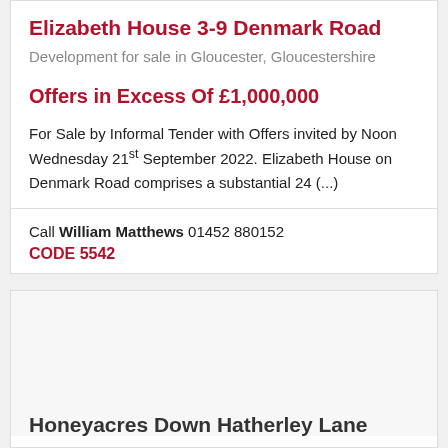Elizabeth House 3-9 Denmark Road
Development for sale in Gloucester, Gloucestershire
Offers in Excess Of £1,000,000
For Sale by Informal Tender with Offers invited by Noon Wednesday 21st September 2022. Elizabeth House on Denmark Road comprises a substantial 24 (...)
Call William Matthews 01452 880152
CODE 5542
[Figure (photo): Property image placeholder for Honeyacres Down Hatherley Lane]
Honeyacres Down Hatherley Lane